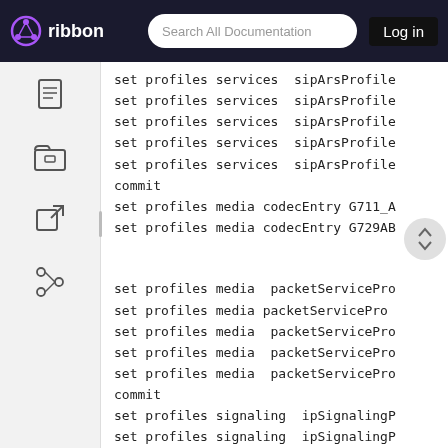ribbon | Search All Documentation | Log in
set profiles services  sipArsProfile
set profiles services  sipArsProfile
set profiles services  sipArsProfile
set profiles services  sipArsProfile
set profiles services  sipArsProfile
commit
set profiles media codecEntry G711_A
set profiles media codecEntry G729AB

set profiles media  packetServicePro
set profiles media packetServicePro
set profiles media  packetServicePro
set profiles media  packetServicePro
set profiles media  packetServicePro
commit
set profiles signaling  ipSignalingP
set profiles signaling  ipSignalingP
set profiles signaling  ipSignalingP
set profiles signaling  ipSignalingP